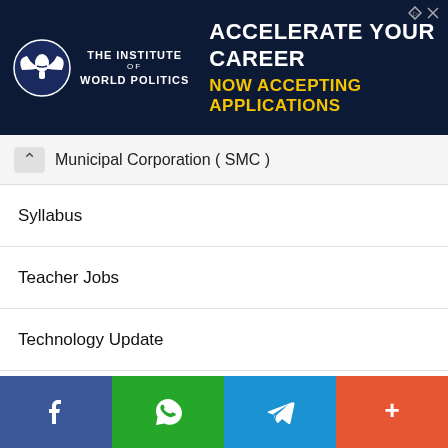[Figure (infographic): Advertisement banner for The Institute of World Politics: 'Accelerate Your Career - Now Accepting Applications']
Municipal Corporation ( SMC )
Syllabus
Teacher Jobs
Technology Update
Uncategorized
upsc Jobs
Urban Health Society
Vadodara Municipal Corporation (VMC)
Vidhyasahayak Bharti
Yoga Instructor Post
[Figure (infographic): Social sharing bar with Facebook, WhatsApp, Telegram, and More (+) buttons]